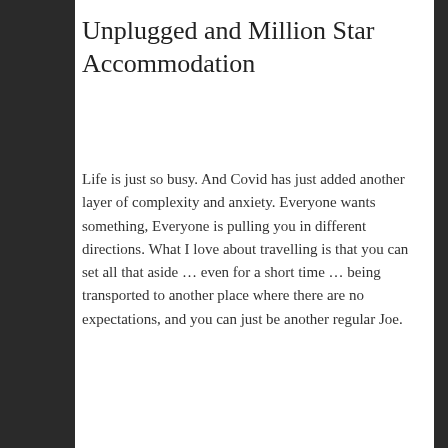Unplugged and Million Star Accommodation
Life is just so busy. And Covid has just added another layer of complexity and anxiety. Everyone wants something, Everyone is pulling you in different directions. What I love about travelling is that you can set all that aside … even for a short time … being transported to another place where there are no expectations, and you can just be another regular Joe.
January 30, 2021 in Australia, Motorcycling, Ride Reports, Travel.
[Figure (photo): Photo of burnt or charred tree trunks/branches with reddish-brown bark in an outdoor bush setting with bare trees in background]